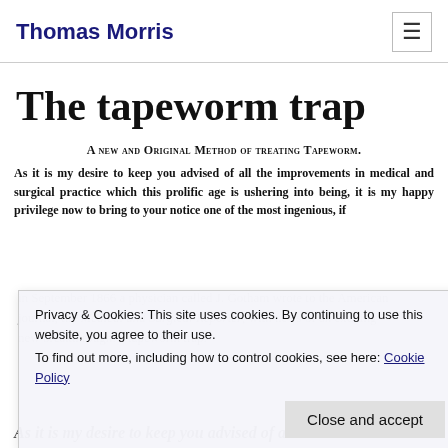Thomas Morris
The tapeworm trap
[Figure (other): Scanned historical document excerpt titled 'A New and Original Method of Treating Tapeworm' with bold justified text beginning 'As it is my desire to keep you advised of all the improvements in medical and surgical practice which this prolific age is ushering into being, it is my happy privilege now to bring to your notice one of the most ingenious, if']
in September 1866 a physician called J. Gotham wrote to the American journal, the Medical and Surgical Reporter, with news of an exciting new breakthrough: a tapeworm trap.
Privacy & Cookies: This site uses cookies. By continuing to use this website, you agree to their use. To find out more, including how to control cookies, see here: Cookie Policy
As it is my desire to keep you advised of all the